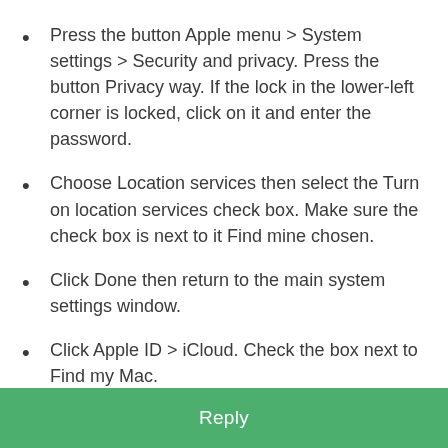Press the button Apple menu > System settings > Security and privacy. Press the button Privacy way. If the lock in the lower-left corner is locked, click on it and enter the password.
Choose Location services then select the Turn on location services check box. Make sure the check box is next to it Find mine chosen.
Click Done then return to the main system settings window.
Click Apple ID > iCloud. Check the box next to Find my Mac.
To make sure you can find your Mac if it’s ever lost or stolen, click Options. Check it out Find My Mac is
Reply